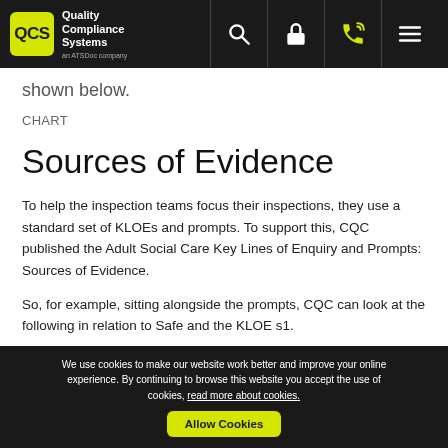QCS Quality Compliance Systems
shown below.
CHART
Sources of Evidence
To help the inspection teams focus their inspections, they use a standard set of KLOEs and prompts. To support this, CQC published the Adult Social Care Key Lines of Enquiry and Prompts: Sources of Evidence.
So, for example, sitting alongside the prompts, CQC can look at the following in relation to Safe and the KLOE s1.
We use cookies to make our website work better and improve your online experience. By continuing to browse this website you accept the use of cookies, read more about cookies. Allow Cookies